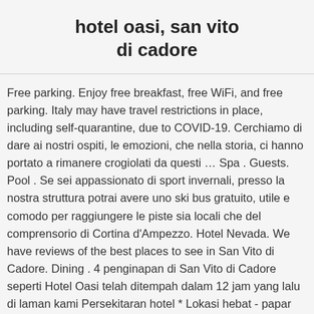hotel oasi, san vito di cadore
Free parking. Enjoy free breakfast, free WiFi, and free parking. Italy may have travel restrictions in place, including self-quarantine, due to COVID-19. Cerchiamo di dare ai nostri ospiti, le emozioni, che nella storia, ci hanno portato a rimanere crogiolati da questi … Spa . Guests. Pool . Se sei appassionato di sport invernali, presso la nostra struttura potrai avere uno ski bus gratuito, utile e comodo per raggiungere le piste sia locali che del comprensorio di Cortina d'Ampezzo. Hotel Nevada. We have reviews of the best places to see in San Vito di Cadore. Dining . 4 penginapan di San Vito di Cadore seperti Hotel Oasi telah ditempah dalam 12 jam yang lalu di laman kami Persekitaran hotel * Lokasi hebat - papar peta Lihat ketersediaan. * Some hotels require you to cancel more than 24 hours before check-in. Free continental breakfast is served each morning from 7:00 AM to 10 AM. Best Family Hotels San Vito di